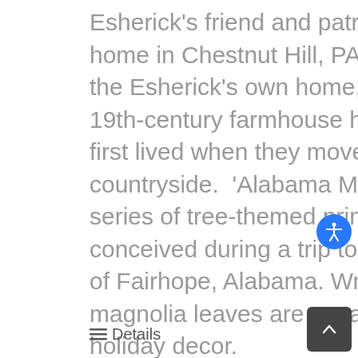Esherick's friend and patron Helene Fischer's home in Chestnut Hill, PA.  'December' depicts the Esherick's own home, "Sunekrest," the 19th-century farmhouse he and his wife Letty first lived when they moved to the Paoli countryside.  'Alabama Magnolia' is part of a series of tree-themed prints Esherick conceived during a trip to the artist community of Fairhope, Alabama. Wreaths made from magnolia leaves are a staple of Southern holiday decor.
Details